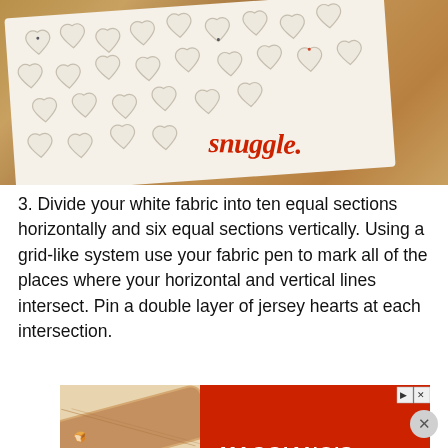[Figure (photo): Photo of a white fabric blanket with small heart shapes arranged in a grid pattern on a wooden floor. The blanket has 'snuggle.' written in red italic script in the lower right area.]
3. Divide your white fabric into ten equal sections horizontally and six equal sections vertically. Using a grid-like system use your fabric pen to mark all of the places where your horizontal and vertical lines intersect. Pin a double layer of jersey hearts at each intersection.
[Figure (photo): Advertisement for Maggiano's Little Italy restaurant. Shows a rolling pin with food illustrations on the left and a red section on the right with 'MAGGIANO'S LITTLE ITALY' text and '12 DISHES' partially visible at the bottom.]